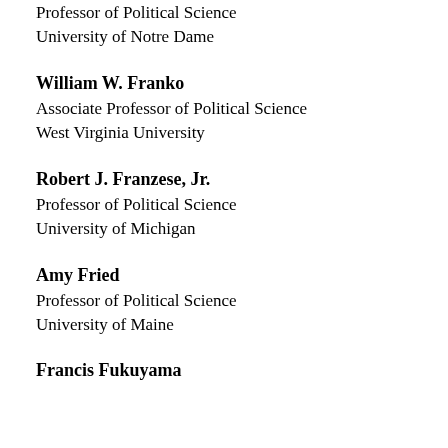Professor of Political Science
University of Notre Dame
William W. Franko
Associate Professor of Political Science
West Virginia University
Robert J. Franzese, Jr.
Professor of Political Science
University of Michigan
Amy Fried
Professor of Political Science
University of Maine
Francis Fukuyama